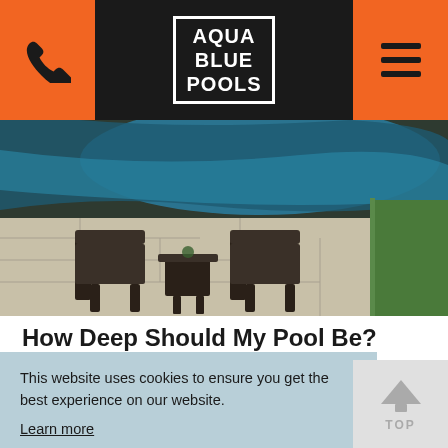Aqua Blue Pools
[Figure (photo): Aerial view of a pool patio with two chairs and a small table on a stone deck, grass to the right, pool water visible at the top]
How Deep Should My Pool Be?
This website uses cookies to ensure you get the best experience on our website.
Learn more
Got it!
c and ivities
TOP